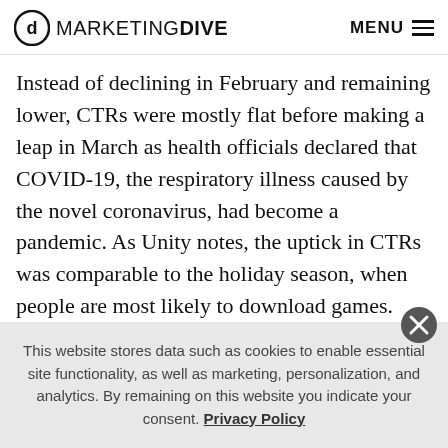Marketing Dive — MENU
Instead of declining in February and remaining lower, CTRs were mostly flat before making a leap in March as health officials declared that COVID-19, the respiratory illness caused by the novel coronavirus, had become a pandemic. As Unity notes, the uptick in CTRs was comparable to the holiday season, when people are most likely to download games.
Mobile game developers also had an opportunity to
This website stores data such as cookies to enable essential site functionality, as well as marketing, personalization, and analytics. By remaining on this website you indicate your consent. Privacy Policy